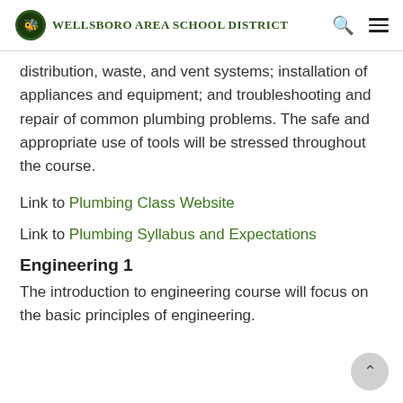Wellsboro Area School District
distribution, waste, and vent systems; installation of appliances and equipment; and troubleshooting and repair of common plumbing problems. The safe and appropriate use of tools will be stressed throughout the course.
Link to Plumbing Class Website
Link to Plumbing Syllabus and Expectations
Engineering 1
The introduction to engineering course will focus on the basic principles of engineering.